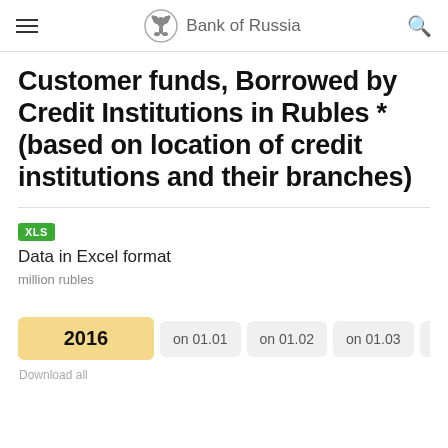Bank of Russia
Customer funds, Borrowed by Credit Institutions in Rubles * (based on location of credit institutions and their branches)
XLS
Data in Excel format
million rubles
2016  on 01.01  on 01.02  on 01.03  on 01.04  on
Download all